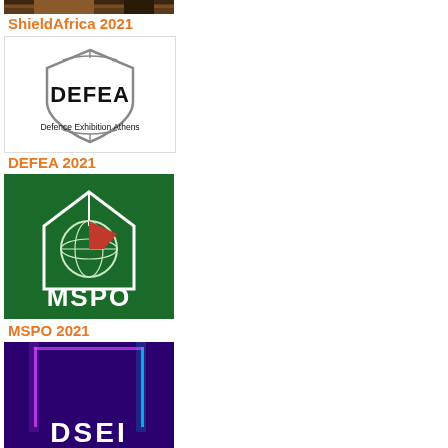[Figure (logo): ShieldAfrica 2021 event banner image (partial top, brown/dark tones)]
ShieldAfrica 2021
[Figure (logo): DEFEA Defence Exhibition Athens logo — hexagonal shield outline with DEFEA text and 'Defence Exhibition Athens' below]
DEFEA 2021
[Figure (logo): MSPO 2021 logo — green background with white house/globe icon, red segment, white text MSPO]
MSPO 2021
[Figure (logo): DSEI event banner — purple/neon background with partial DSEI logo text visible at bottom]